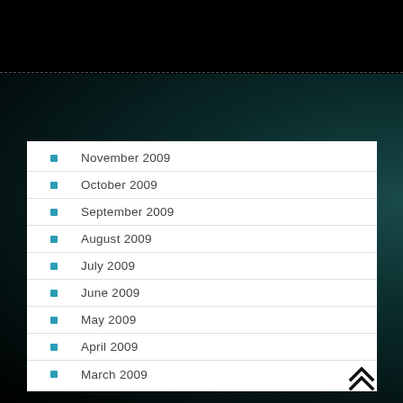November 2009
October 2009
September 2009
August 2009
July 2009
June 2009
May 2009
April 2009
March 2009